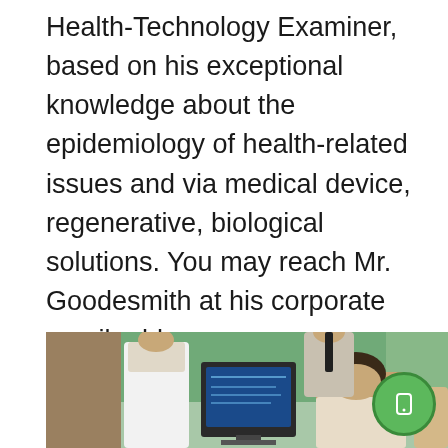Health-Technology Examiner, based on his exceptional knowledge about the epidemiology of health-related issues and via medical device, regenerative, biological solutions. You may reach Mr. Goodesmith at his corporate email address: tony@standardmed.us. We pride ourselves on our distinct array of medical devices and diagnostic equipment we offer to the healthcare community, which delivers the highest quality control, safety and efficacy with the latest breakthroughs in medical technology.
[Figure (photo): Photo of medical professionals in a clinical or conference setting, with a person in a white coat standing near a monitor, and another person in the foreground. A green circular floating action button with a phone/mobile icon is overlaid in the bottom-right corner of the image.]